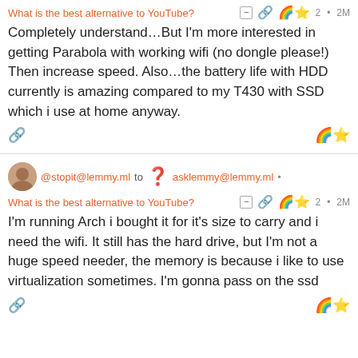What is the best alternative to YouTube?
Completely understand…But I'm more interested in getting Parabola with working wifi (no dongle please!) Then increase speed. Also…the battery life with HDD currently is amazing compared to my T430 with SSD which i use at home anyway.
@stopit@lemmy.ml to asklemmy@lemmy.ml
What is the best alternative to YouTube?
I'm running Arch i bought it for it's size to carry and i need the wifi. It still has the hard drive, but I'm not a huge speed needer, the memory is because i like to use virtualization sometimes. I'm gonna pass on the ssd